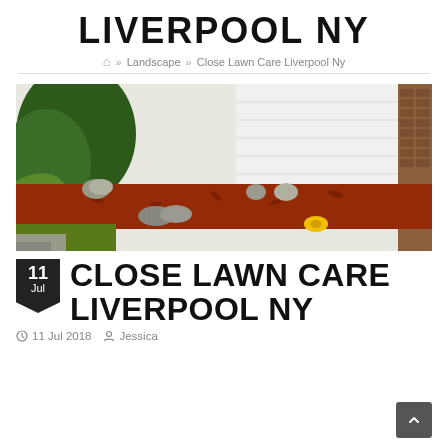LIVERPOOL NY
🏠 » Landscape » Close Lawn Care Liverpool Ny
[Figure (photo): Landscape photo showing a garden bed with red mulch, decorative rocks, hostas, green shrubs, yellow daylilies, and a white-sided house with brick column in the background]
CLOSE LAWN CARE LIVERPOOL NY
11 Jul 2018   Jessica